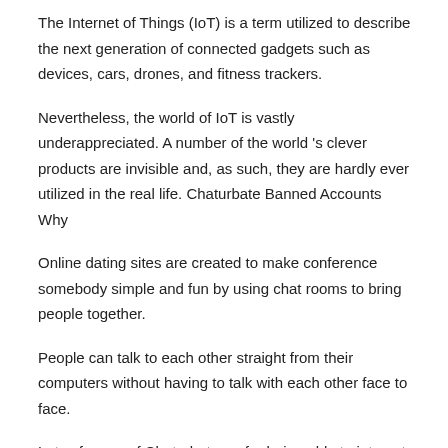The Internet of Things (IoT) is a term utilized to describe the next generation of connected gadgets such as devices, cars, drones, and fitness trackers.
Nevertheless, the world of IoT is vastly underappreciated. A number of the world 's clever products are invisible and, as such, they are hardly ever utilized in the real life. Chaturbate Banned Accounts Why
Online dating sites are created to make conference somebody simple and fun by using chat rooms to bring people together.
People can talk to each other straight from their computers without having to talk with each other face to face.
Lots of users of Chaturbate prefer being able to interact with designs on their site. That’s one reason they go to the website routinely.